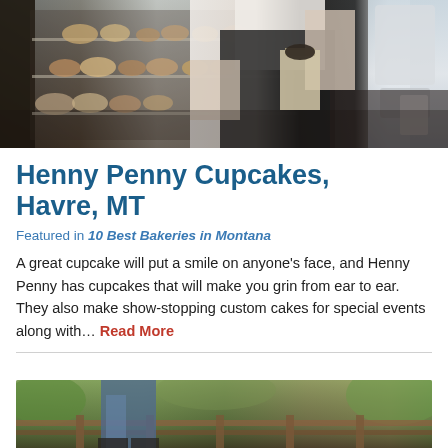[Figure (photo): Photo of a bakery worker in a black apron packaging items near a display case with baked goods on shelves; coffee equipment visible on the right]
Henny Penny Cupcakes, Havre, MT
Featured in 10 Best Bakeries in Montana
A great cupcake will put a smile on anyone’s face, and Henny Penny has cupcakes that will make you grin from ear to ear. They also make show-stopping custom cakes for special events along with… Read More
[Figure (photo): Photo of a person outdoors near wooden structures, appears to be a patio or garden setting with greenery in background]